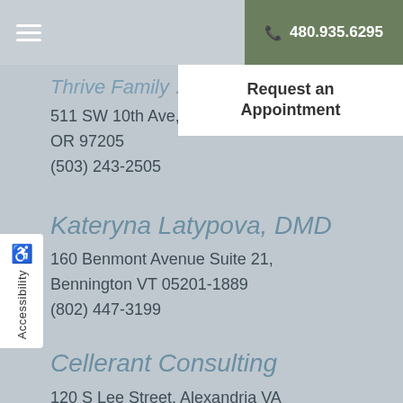☰  📞 480.935.6295
Request an Appointment
511 SW 10th Ave, Suite 8
OR 97205
(503) 243-2505
Kateryna Latypova, DMD
160 Benmont Avenue Suite 21, Bennington VT 05201-1889
(802) 447-3199
Cellerant Consulting
120 S Lee Street, Alexandria VA
22314-3306
800-884-5707